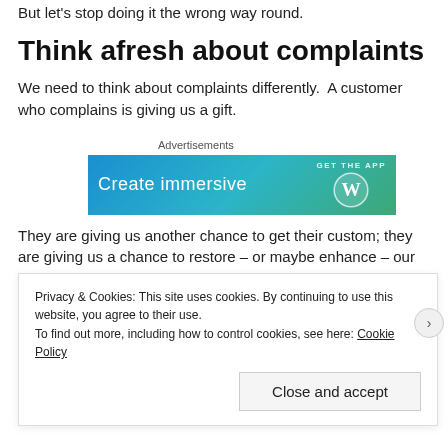But let's stop doing it the wrong way round.
Think afresh about complaints
We need to think about complaints differently.  A customer who complains is giving us a gift.
Advertisements
[Figure (other): Advertisement banner with gradient blue-green background showing 'Create immersive' text and 'GET THE APP' with WordPress logo]
They are giving us another chance to get their custom; they are giving us a chance to restore – or maybe enhance – our reputation; and they are giving us a chance to learn from their
Privacy & Cookies: This site uses cookies. By continuing to use this website, you agree to their use.
To find out more, including how to control cookies, see here: Cookie Policy
Close and accept